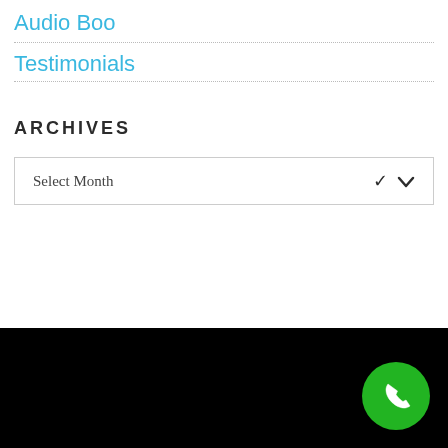Audio Boo
Testimonials
ARCHIVES
Select Month
[Figure (other): Green circular phone/call button in the bottom right corner over a black footer bar]